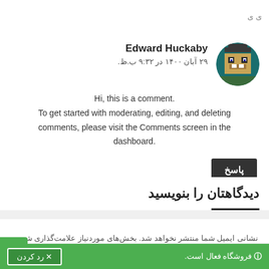Edward Huckaby
۲۹ آبان ۱۴۰۰ در ۹:۳۲ ب.ظ.
Hi, this is a comment. To get started with moderating, editing, and deleting comments, please visit the Comments screen in the dashboard.
پاسخ
دیدگاهتان را بنویسید
نشانی ایمیل شما منتشر نخواهد شد. بخش‌های موردنیاز علامت‌گذاری شده
🛈 فروشگاه فعال است.
✕ رد کردن